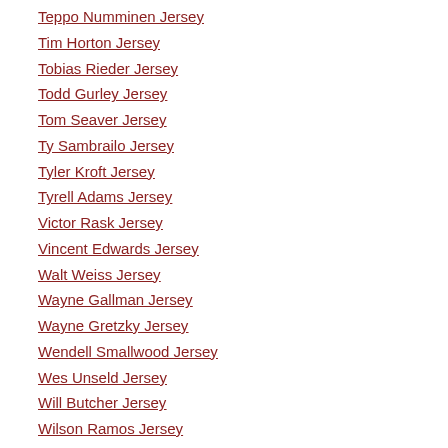Teppo Numminen Jersey
Tim Horton Jersey
Tobias Rieder Jersey
Todd Gurley Jersey
Tom Seaver Jersey
Ty Sambrailo Jersey
Tyler Kroft Jersey
Tyrell Adams Jersey
Victor Rask Jersey
Vincent Edwards Jersey
Walt Weiss Jersey
Wayne Gallman Jersey
Wayne Gretzky Jersey
Wendell Smallwood Jersey
Wes Unseld Jersey
Will Butcher Jersey
Wilson Ramos Jersey
Winnipeg Jets Jersey
Xander Bogaerts Jersey
Yasmany Tomas Jersey